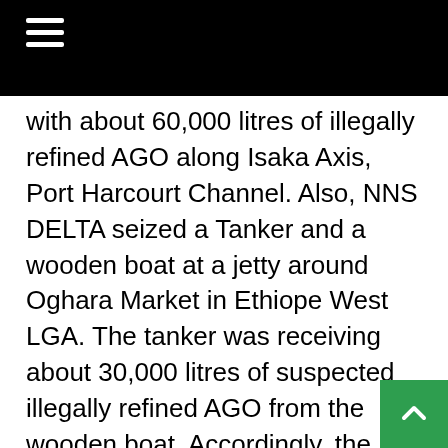≡
with about 60,000 litres of illegally refined AGO along Isaka Axis, Port Harcourt Channel. Also, NNS DELTA seized a Tanker and a wooden boat at a jetty around Oghara Market in Ethiope West LGA. The tanker was receiving about 30,000 litres of suspected illegally refined AGO from the wooden boat. Accordingly, the truck and boat were destroyed. Furthermore, 5 suspects and a wooden boat laden with about 70,000 litres of suspected illegally refined AGO were apprehended under Kiama bridge. Additionally, a Toyota Sienna Vehicle in the same location was seized. The suspects,